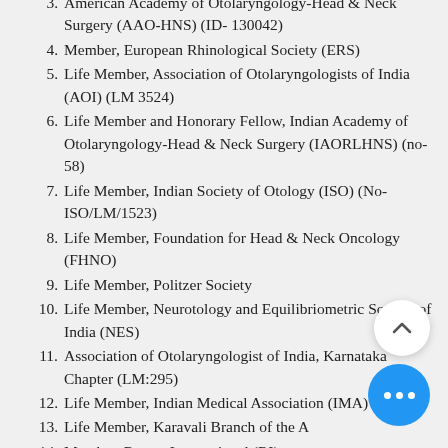3. American Academy of Otolaryngology-Head & Neck Surgery (AAO-HNS) (ID- 130042)
4. Member, European Rhinological Society (ERS)
5. Life Member, Association of Otolaryngologists of India (AOI) (LM 3524)
6. Life Member and Honorary Fellow, Indian Academy of Otolaryngology-Head & Neck Surgery (IAORLHNS) (no-58)
7. Life Member, Indian Society of Otology (ISO) (No-ISO/LM/1523)
8. Life Member, Foundation for Head & Neck Oncology (FHNO)
9. Life Member, Politzer Society
10. Life Member, Neurotology and Equilibriometric Society of India (NES)
11. Association of Otolaryngologist of India, Karnataka Chapter (LM:295)
12. Life Member, Indian Medical Association (IMA)
13. Life Member, Karavali Branch of the A
14. Member, Rotary International (RI)